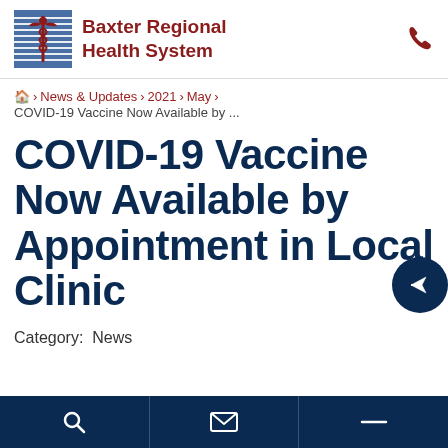Baxter Regional Health System
🏠 > News & Updates > 2021 > May > COVID-19 Vaccine Now Available by ...
COVID-19 Vaccine Now Available by Appointment in Local Clinic
Category: News
Bottom navigation bar with icons